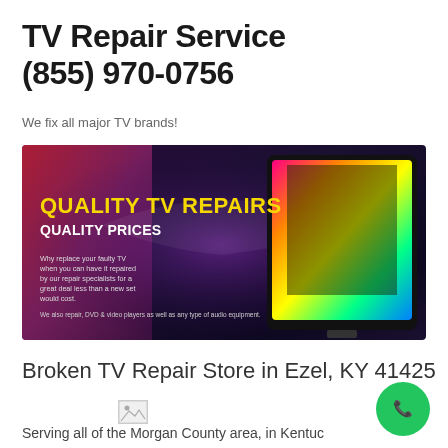TV Repair Service
(855) 970-0756
We fix all major TV brands!
[Figure (photo): Promotional banner image for TV repair service showing a flat-screen TV with colorful display and text: QUALITY TV REPAIRS QUALITY PRICES. Body text: Why replace your faulty TV when you can have it repaired by our repair specialists for a great deal less than a new set would cost. We also repair, DVD & video players as well as any type of audio equipment.]
Broken TV Repair Store in Ezel, KY 41425
[Figure (photo): Broken image placeholder icon]
Serving all of the Morgan County area, in Kentuc